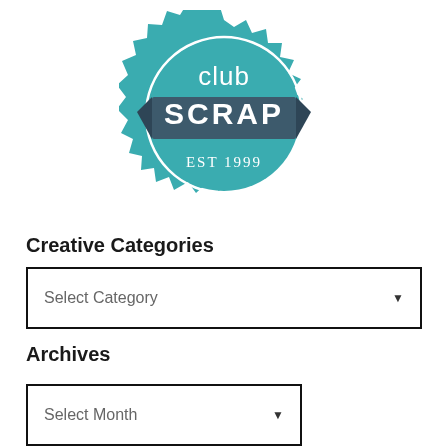[Figure (logo): Club Scrap logo — teal badge/seal shape with white 'club' text and white ribbon banner containing dark blue bold 'SCRAP' text, with 'EST 1999' below in teal area]
Creative Categories
[Figure (other): Dropdown selector UI element with text 'Select Category' and a downward arrow]
Archives
[Figure (other): Dropdown selector UI element with text 'Select Month' and a downward arrow, narrower than the Category dropdown]